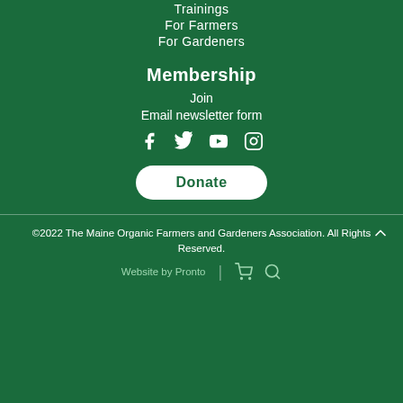Trainings
For Farmers
For Gardeners
Membership
Join
Email newsletter form
[Figure (infographic): Social media icons: Facebook, Twitter, YouTube, Instagram]
[Figure (infographic): Donate button (pill-shaped white button with dark green text)]
©2022 The Maine Organic Farmers and Gardeners Association. All Rights Reserved.
Website by Pronto
[Figure (infographic): Shopping cart icon and search icon in footer bar]